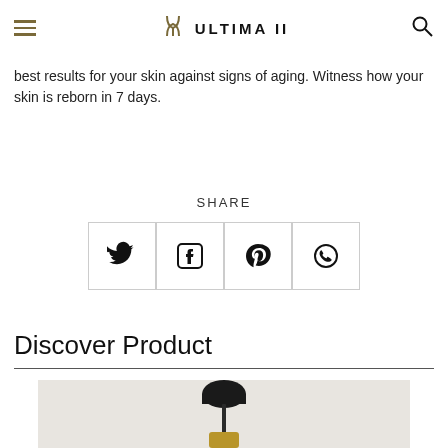ULTIMA II
best results for your skin against signs of aging. Witness how your skin is reborn in 7 days.
SHARE
[Figure (other): Four social media share icon buttons in bordered squares: Twitter, Facebook, Pinterest, WhatsApp]
Discover Product
[Figure (photo): A gold and black luxury serum dropper bottle photographed on a light grey background]